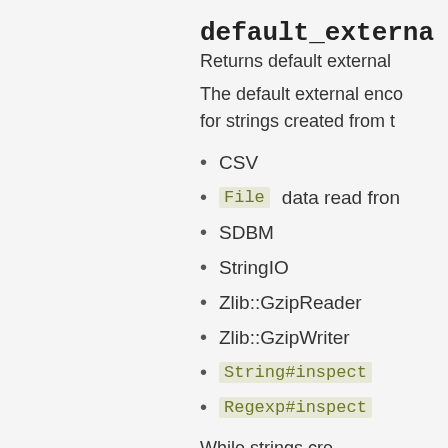default_externa
Returns default external
The default external enco for strings created from t
CSV
File data read fron
SDBM
StringIO
Zlib::GzipReader
Zlib::GzipWriter
String#inspect
Regexp#inspect
While strings cre have this encoding, the e dit Regexp t